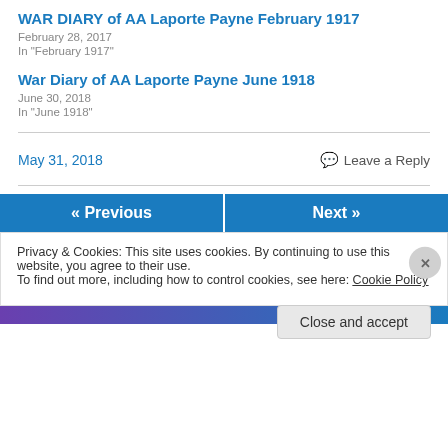WAR DIARY of AA Laporte Payne February 1917
February 28, 2017
In "February 1917"
War Diary of AA Laporte Payne June 1918
June 30, 2018
In "June 1918"
May 31, 2018
Leave a Reply
« Previous
Next »
Privacy & Cookies: This site uses cookies. By continuing to use this website, you agree to their use.
To find out more, including how to control cookies, see here: Cookie Policy
Close and accept